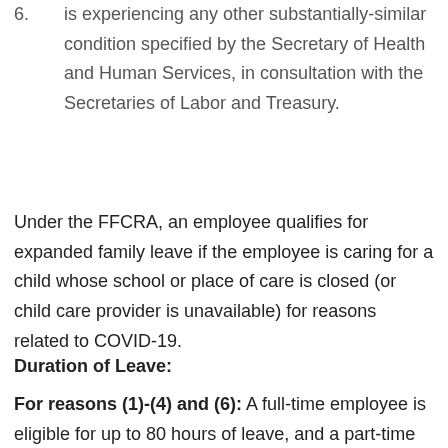6. is experiencing any other substantially-similar condition specified by the Secretary of Health and Human Services, in consultation with the Secretaries of Labor and Treasury.
Under the FFCRA, an employee qualifies for expanded family leave if the employee is caring for a child whose school or place of care is closed (or child care provider is unavailable) for reasons related to COVID-19.
Duration of Leave:
For reasons (1)-(4) and (6): A full-time employee is eligible for up to 80 hours of leave, and a part-time